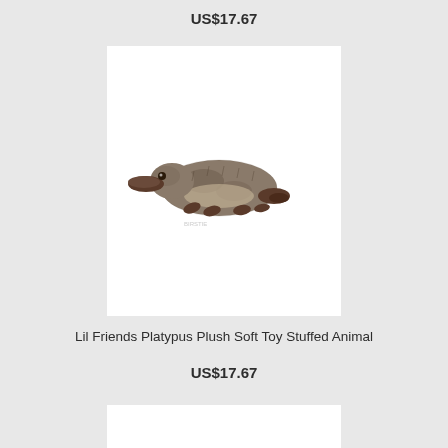US$17.67
[Figure (photo): A stuffed platypus plush toy with grey-brown fur, dark brown bill, feet and tail, positioned sideways on a white background. A faint watermark is visible.]
Lil Friends Platypus Plush Soft Toy Stuffed Animal
US$17.67